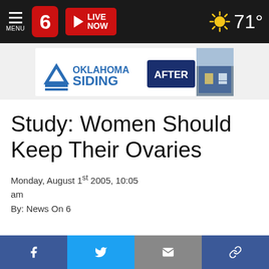News On 6 – MENU | 6 | LIVE NOW | 71°
[Figure (advertisement): Oklahoma Siding advertisement banner with logo and 'AFTER' label showing a blue house]
Study: Women Should Keep Their Ovaries
Monday, August 1st 2005, 10:05 am
By: News On 6
Social share bar: Facebook, Twitter, Email, Link